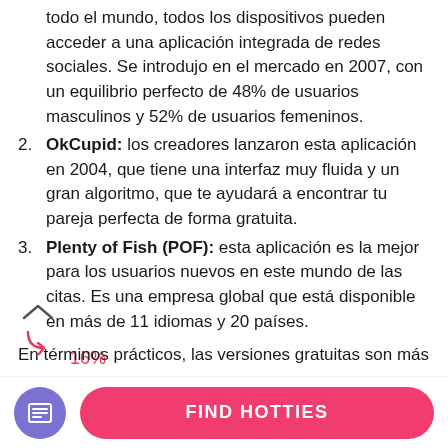todo el mundo, todos los dispositivos pueden acceder a una aplicación integrada de redes sociales. Se introdujo en el mercado en 2007, con un equilibrio perfecto de 48% de usuarios masculinos y 52% de usuarios femeninos.
2. OkCupid: los creadores lanzaron esta aplicación en 2004, que tiene una interfaz muy fluida y un gran algoritmo, que te ayudará a encontrar tu pareja perfecta de forma gratuita.
3. Plenty of Fish (POF): esta aplicación es la mejor para los usuarios nuevos en este mundo de las citas. Es una empresa global que está disponible en más de 11 idiomas y 20 países.
16%
En términos prácticos, las versiones gratuitas son más